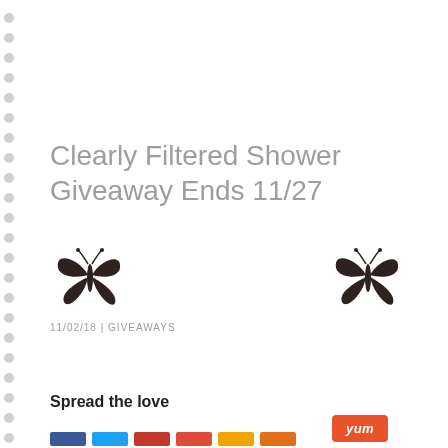Clearly Filtered Shower Giveaway Ends 11/27
[Figure (illustration): Two butterfly silhouettes in dark brown/black, one on the left and one on the right side of the page]
11/02/18 | GIVEAWAYS
Spread the love
[Figure (other): Yum button in orange-red color]
[Figure (other): Social sharing buttons row: Facebook (blue), Twitter (light blue), red, orange-red, yellow-orange, orange]